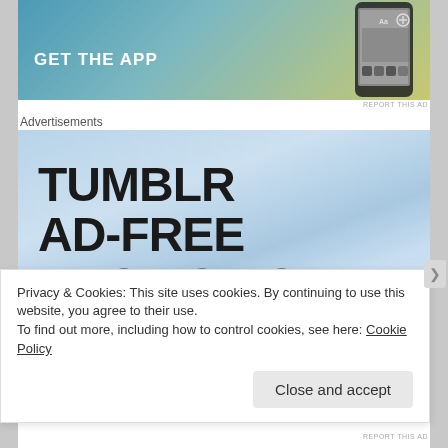[Figure (illustration): GET THE APP advertisement banner with gradient blue-green-yellow background and phone device image on the right]
REPORT THIS AD
Advertisements
[Figure (illustration): Tumblr AD-FREE BROWSING advertisement banner with light blue gradient background and large bold black text reading TUMBLR AD-FREE BROWSING]
Privacy & Cookies: This site uses cookies. By continuing to use this website, you agree to their use.
To find out more, including how to control cookies, see here: Cookie Policy
Close and accept
REPORT THIS AD